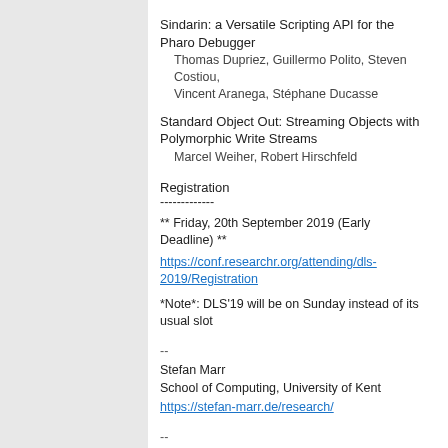Sindarin: a Versatile Scripting API for the Pharo Debugger
  Thomas Dupriez, Guillermo Polito, Steven Costiou, Vincent Aranega, Stéphane Ducasse
Standard Object Out: Streaming Objects with Polymorphic Write Streams
  Marcel Weiher, Robert Hirschfeld
Registration
-------------
** Friday, 20th September 2019 (Early Deadline) **
https://conf.researchr.org/attending/dls-2019/Registration
*Note*: DLS'19 will be on Sunday instead of its usual slot
--
Stefan Marr
School of Computing, University of Kent
https://stefan-marr.de/research/
--
You received this message because you are subscribed to the Google Groups "Smalltalk Research" group.
To unsubscribe from this group and stop receiving emails